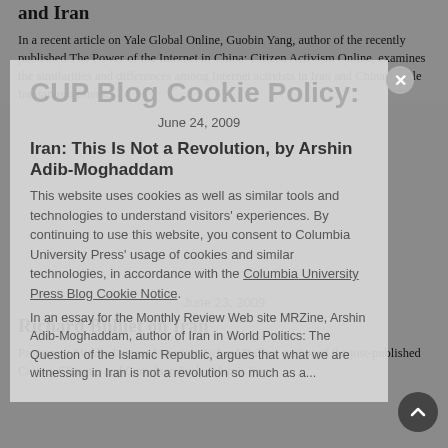and Iran
In a recent article on Yale Global Online, Guobin Yang, author of the recently published The Power of the Internet in China: Citizen Activism Online, examines the similarities and differences among Internet activists in Iran and China. While Iranian protesters...
CUP Blog Cookie Policy:
June 24, 2009
Iran: This Is Not a Revolution, by Arshin Adib-Moghaddam
This website uses cookies as well as similar tools and technologies to understand visitors' experiences. By continuing to use this website, you consent to Columbia University Press' usage of cookies and similar technologies, in accordance with the Columbia University Press Blog Cookie Notice.
In an essay for the Monthly Review Web site MRZine, Arshin Adib-Moghaddam, author of Iran in World Politics: The Question of the Islamic Republic, argues that what we are witnessing in Iran is not a revolution so much as a...
June 23, 2009
Richard Bulliet on Iran
Prominent Middle Eastern historian Richard Bulliet, author of the just-published Cotton, Climate, and Camels in Early Islamic Iran